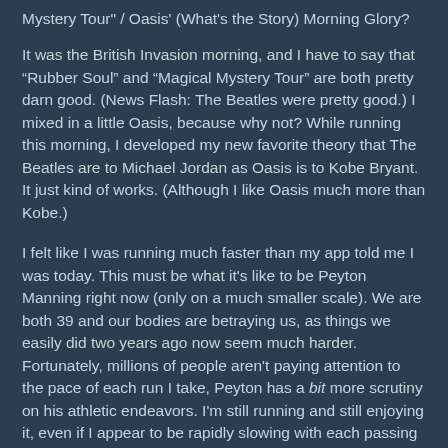Mystery Tour" / Oasis' (What's the Story) Morning Glory?
It was the British Invasion morning, and I have to say that "Rubber Soul" and "Magical Mystery Tour" are both pretty darn good. (News Flash: The Beatles were pretty good.) I mixed in a little Oasis, because why not? While running this morning, I developed my new favorite theory that The Beatles are to Michael Jordan as Oasis is to Kobe Bryant. It just kind of works. (Although I like Oasis much more than Kobe.)
I felt like I was running much faster than my app told me I was today. This must be what it's like to be Peyton Manning right now (only on a much smaller scale). We are both 39 and our bodies are betraying us, as things we easily did two years ago now seem much harder. Fortunately, millions of people aren't paying attention to the pace of each run I take, Peyton has a bit more scrutiny on his athletic endeavors. I'm still running and still enjoying it, even if I appear to be rapidly slowing with each passing day. I've decided to not worry about it anymore and just do my best and be happy with that.